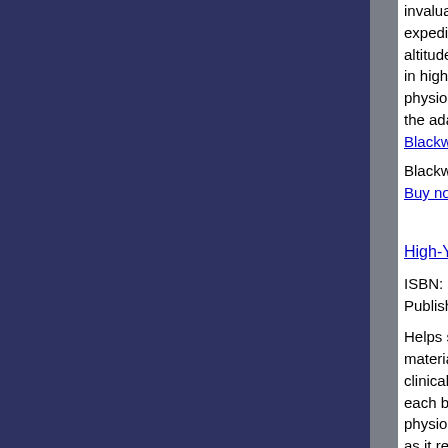invaluable reading for any doctor accompanying an expedition to altitude or advising patients on a visit to altitude, physicians specialising in illness and accidents in high places and for those physicians and physiologists who study our dependence on oxygen and the adaptation of the body to altitude.... Read more at Blackwells or Read more at Amazon
Blackwells on-line price: £79.00 Buy now! Buy now from Amazon!
High-Yield Kidney
ISBN: 9780781755696
Published by: Lippincott Williams and Wilkins
Helps students integrate their first two years' course material and offers preparation for USMLE Step 1 and clinical rotations. This title includes chapters that cover each basic science - anatomy, histology, embryology, physiology, microbiology, pharmacology, and pathology as it relates to the kidneys.... Read more at Blackwells or Read more at Amazon
Blackwells on-line price: £12.95 Buy now! Buy now from Amazon!